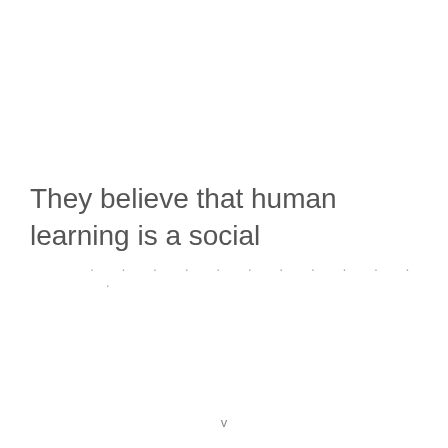They believe that human learning is a social
. . . . . . . . . . . . . . .
v